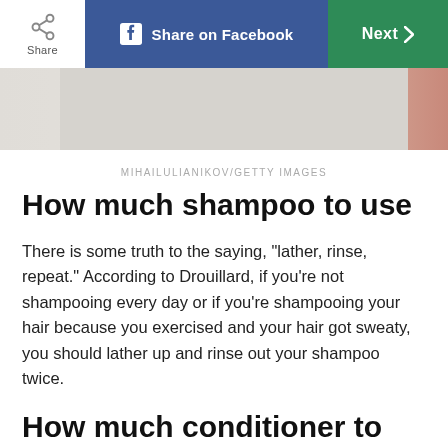Share | Share on Facebook | Next
[Figure (photo): Partial view of a bathroom or personal care product setting, muted tones with a peach/skin color accent on the right side]
MIHAILULIANIKOV/GETTY IMAGES
How much shampoo to use
There is some truth to the saying, "lather, rinse, repeat." According to Drouillard, if you're not shampooing every day or if you're shampooing your hair because you exercised and your hair got sweaty, you should lather up and rinse out your shampoo twice.
How much conditioner to use